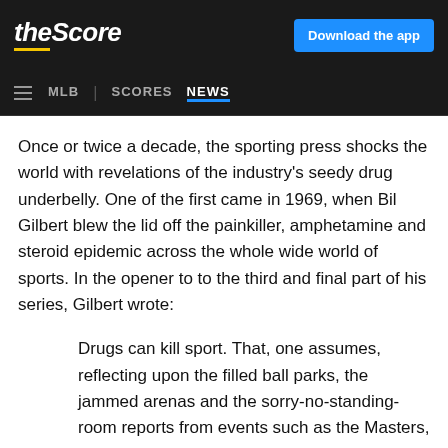theScore | Download the app | MLB | SCORES | NEWS
Once or twice a decade, the sporting press shocks the world with revelations of the industry's seedy drug underbelly. One of the first came in 1969, when Bil Gilbert blew the lid off the painkiller, amphetamine and steroid epidemic across the whole wide world of sports. In the opener to to the third and final part of his series, Gilbert wrote:
Drugs can kill sport. That, one assumes, reflecting upon the filled ball parks, the jammed arenas and the sorry-no-standing-room reports from events such as the Masters, ought to be an exaggeration. But it is far from excessive to conclude that the increasing use of drugs by athletes poses a